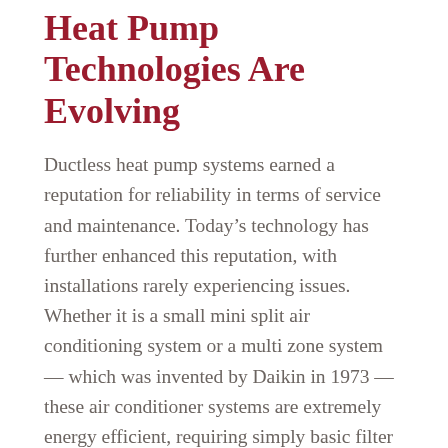Heat Pump Technologies Are Evolving
Ductless heat pump systems earned a reputation for reliability in terms of service and maintenance. Today's technology has further enhanced this reputation, with installations rarely experiencing issues. Whether it is a small mini split air conditioning system or a multi zone system — which was invented by Daikin in 1973 — these air conditioner systems are extremely energy efficient, requiring simply basic filter maintenance and condenser coil cleaning.
As the Japanese invention was gradually spread across the world, the demands that each region created, both in terms of sales and design,